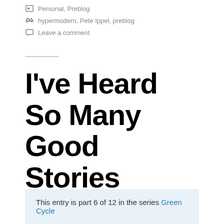Personal, Preblog
hypermodern, Pete Ippel, preblog
Leave a comment
I've Heard So Many Good Stories
This entry is part 6 of 12 in the series Green Cycle